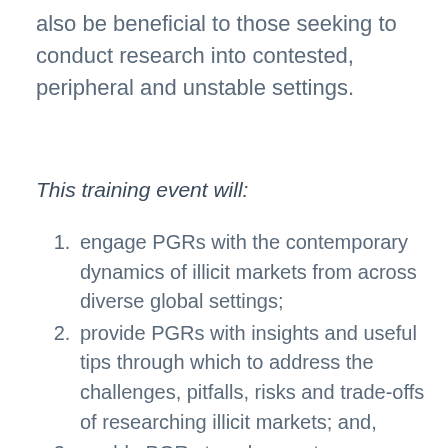also be beneficial to those seeking to conduct research into contested, peripheral and unstable settings.
This training event will:
engage PGRs with the contemporary dynamics of illicit markets from across diverse global settings;
provide PGRs with insights and useful tips through which to address the challenges, pitfalls, risks and trade-offs of researching illicit markets; and,
enable PGRs to ask expert researchers questions pertinent to